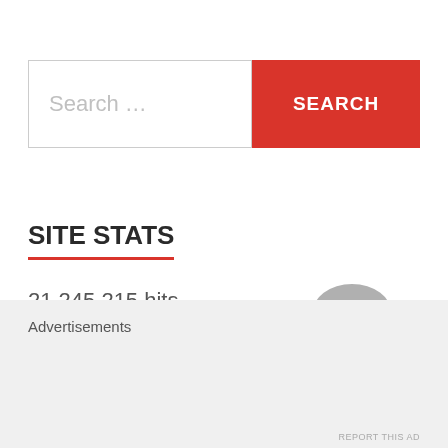[Figure (screenshot): Search bar with placeholder text 'Search...' and a red SEARCH button]
SITE STATS
21,245,215 hits
Advertisements
[Figure (other): Close button (X circle) in bottom right corner]
REPORT THIS AD